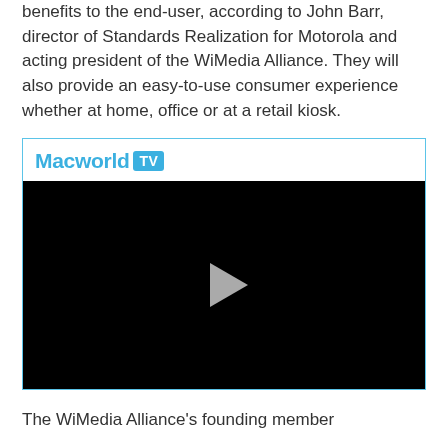benefits to the end-user, according to John Barr, director of Standards Realization for Motorola and acting president of the WiMedia Alliance. They will also provide an easy-to-use consumer experience whether at home, office or at a retail kiosk.
[Figure (screenshot): Macworld TV video player embed with blue Macworld TV logo at top and black video area with a play button in the center]
The WiMedia Alliance's founding member